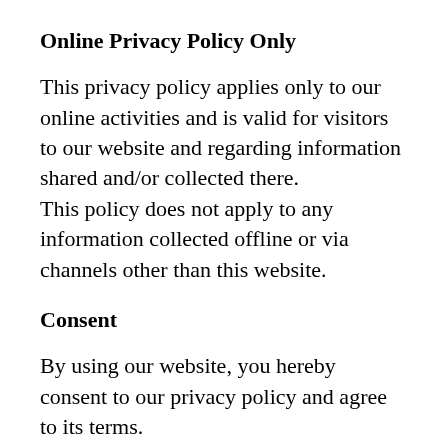Online Privacy Policy Only
This privacy policy applies only to our online activities and is valid for visitors to our website and regarding information shared and/or collected there. This policy does not apply to any information collected offline or via channels other than this website.
Consent
By using our website, you hereby consent to our privacy policy and agree to its terms.
Update